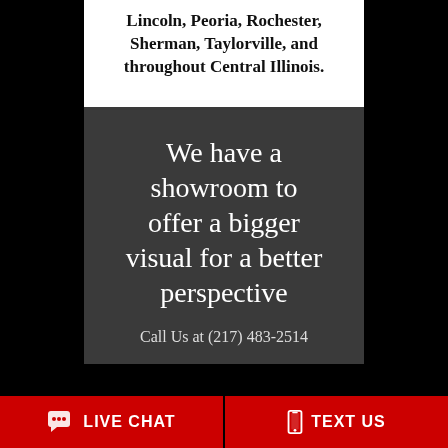Lincoln, Peoria, Rochester, Sherman, Taylorville, and throughout Central Illinois.
We have a showroom to offer a bigger visual for a better perspective
Call Us at (217) 483-2514
LIVE CHAT
TEXT US